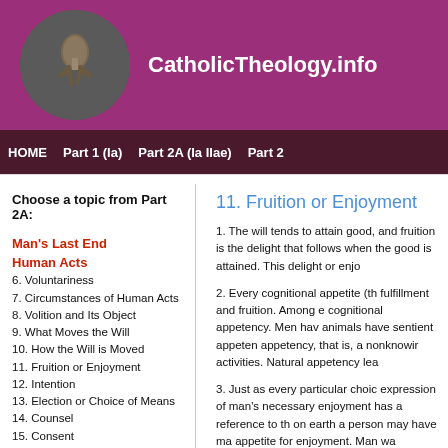CatholicTheology.info
HOME   Part 1 (Ia)   Part 2A (Ia IIae)   Part 2
Choose a topic from Part 2A:
Man's Last End
Human Acts
6. Voluntariness
7. Circumstances of Human Acts
8. Volition and Its Object
9. What Moves the Will
10. How the Will is Moved
11. Fruition or Enjoyment
12. Intention
13. Election or Choice of Means
14. Counsel
15. Consent
16. Use
17. Commanded Acts of the Will
18. Moral Good and Evil in Human Acts
19. Morality in Acts of the Will
11. Fruition or Enjoyment
1. The will tends to attain good, and fruition is the delight that follows when the good is attained. This delight or enjo
2. Every cognitional appetite (the will) has fulfillment and fruition. Among every cognitional appetency. Men have cognitional appetency, that is, a nonknowing activities. Natural appetency lea
3. Just as every particular choice is an expression of man's necessary enjoyment has a reference to the on earth a person may have ma appetite for enjoyment. Man wa